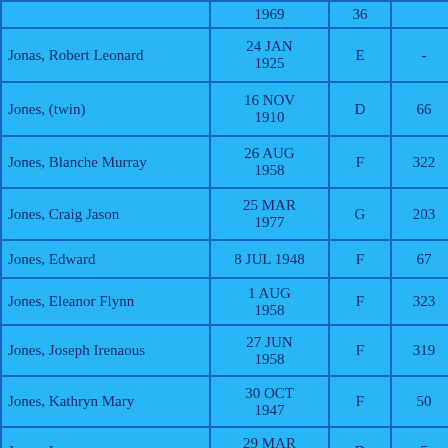| Name | Date | Col3 | Col4 | Col5 |
| --- | --- | --- | --- | --- |
|  | 1969 | 36 |  |  |
| Jonas, Robert Leonard | 24 JAN 1925 | E | - | 83 |
| Jones, (twin) | 16 NOV 1910 | D | 66 | 1 |
| Jones, Blanche Murray | 26 AUG 1958 | F | 322 | 6 |
| Jones, Craig Jason | 25 MAR 1977 | G | 203 | 7 |
| Jones, Edward | 8 JUL 1948 | F | 67 | 4 |
| Jones, Eleanor Flynn | 1 AUG 1958 | F | 323 | 3 |
| Jones, Joseph Irenaous | 27 JUN 1958 | F | 319 | 4 |
| Jones, Kathryn Mary | 30 OCT 1947 | F | 50 | 2 |
| Jones, Leon | 29 MAR 1908 | D | 5 | 3 |
| Jones, Maria Louisa | 31 OCT 1946 | F | 22 | 3 |
|  | 15 AUG |  |  |  |